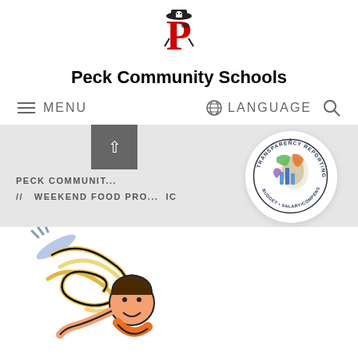[Figure (logo): Peck Community Schools pirate mascot logo - letter P with pirate character]
Peck Community Schools
MENU
LANGUAGE
PECK COMMUNITY ...
// WEEKEND FOOD PRO... IC
[Figure (logo): Michigan Transparency Reporting badge - circular seal with Michigan map, colorful bar charts, text: TRANSPARENCY REPORTING • BUDGET • SALARY/COMPENSATION]
[Figure (illustration): Cartoon illustration of a child eating spaghetti/noodles with fork]